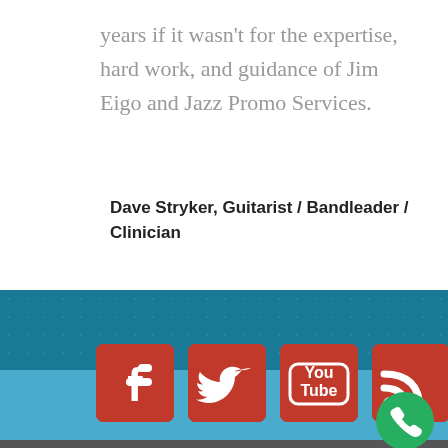years if it wasn't for the expertise, hard work, and guidance of Jim Eigo and Jazz Promo Services.
Dave Stryker, Guitarist / Bandleader / Clinician
[Figure (infographic): Footer section with teal/blue background bands containing four red social media icon buttons (Facebook, Twitter, YouTube, RSS) and a green phone call button in the bottom right corner.]